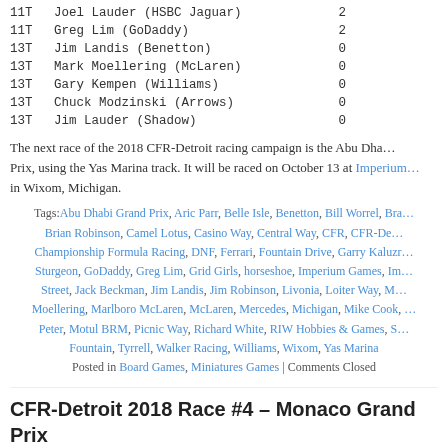| Pos | Name | Pts |
| --- | --- | --- |
| 11T | Joel Lauder (HSBC Jaguar) | 2 |
| 11T | Greg Lim (GoDaddy) | 2 |
| 13T | Jim Landis (Benetton) | 0 |
| 13T | Mark Moellering (McLaren) | 0 |
| 13T | Gary Kempen (Williams) | 0 |
| 13T | Chuck Modzinski (Arrows) | 0 |
| 13T | Jim Lauder (Shadow) | 0 |
The next race of the 2018 CFR-Detroit racing campaign is the Abu Dhabi Grand Prix, using the Yas Marina track. It will be raced on October 13 at Imperium Games in Wixom, Michigan.
Tags: Abu Dhabi Grand Prix, Aric Parr, Belle Isle, Benetton, Bill Worrel, Bra... Brian Robinson, Camel Lotus, Casino Way, Central Way, CFR, CFR-De... Championship Formula Racing, DNF, Ferrari, Fountain Drive, Garry Kaluzr... Sturgeon, GoDaddy, Greg Lim, Grid Girls, horseshoe, Imperium Games, I... Street, Jack Beckman, Jim Landis, Jim Robinson, Livonia, Loiter Way, M... Moellering, Marlboro McLaren, McLaren, Mercedes, Michigan, Mike Cook, ... Peter, Motul BRM, Picnic Way, Richard White, RIW Hobbies & Games, S... Fountain, Tyrrell, Walker Racing, Williams, Wixom, Yas Marina
Posted in Board Games, Miniatures Games | Comments Closed
CFR-Detroit 2018 Race #4 – Monaco Grand Prix
Saturday, December 8th, 2018
The fourth race of the CFR-Detroit 2018 racing season was held at Imperium Games in Wixom, Michigan, on Saturday, August 11, and Mike Cook, the pole-si...